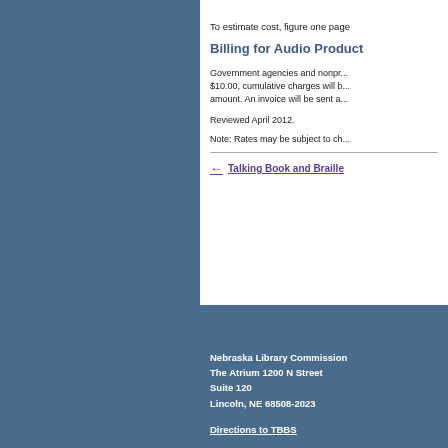To estimate cost, figure one page
Billing for Audio Product
Government agencies and nonpro... $10.00, cumulative charges will b... amount. An invoice will be sent a...
Reviewed April 2012.
Note: Rates may be subject to ch...
Talking Book and Braille
Nebraska Library Commission
The Atrium 1200 N Street
Suite 120
Lincoln, NE 68508-2023

Directions to TBBS